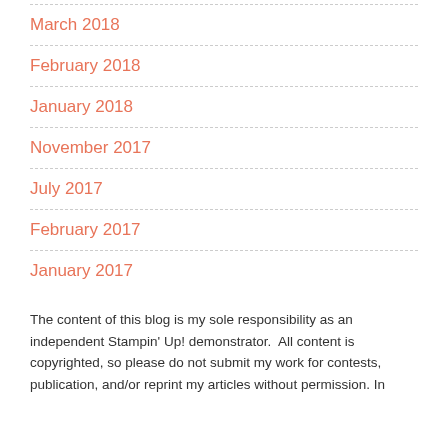March 2018
February 2018
January 2018
November 2017
July 2017
February 2017
January 2017
The content of this blog is my sole responsibility as an independent Stampin' Up! demonstrator.  All content is copyrighted, so please do not submit my work for contests, publication, and/or reprint my articles without permission. In